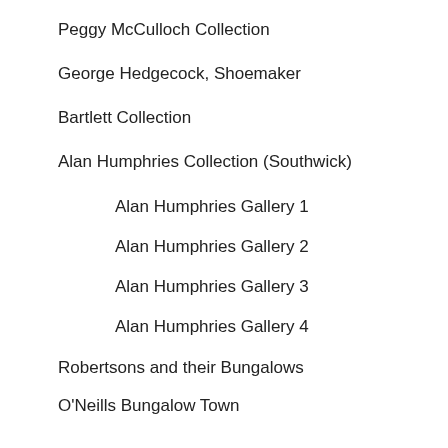Peggy McCulloch Collection
George Hedgecock, Shoemaker
Bartlett Collection
Alan Humphries Collection (Southwick)
Alan Humphries Gallery 1
Alan Humphries Gallery 2
Alan Humphries Gallery 3
Alan Humphries Gallery 4
Robertsons and their Bungalows
O'Neills Bungalow Town
John Lyne Collection
Moving Images
Other imagery
Ghosts